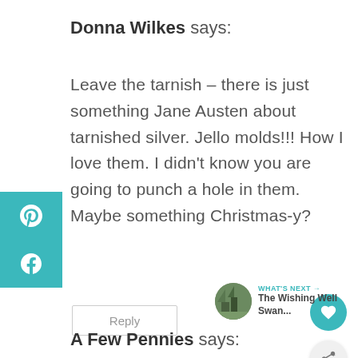Donna Wilkes says:
Leave the tarnish – there is just something Jane Austen about tarnished silver. Jello molds!!! How I love them. I didn't know you are going to punch a hole in them. Maybe something Christmas-y?
Reply
WHAT'S NEXT → The Wishing Well Swan...
A Few Pennies says: